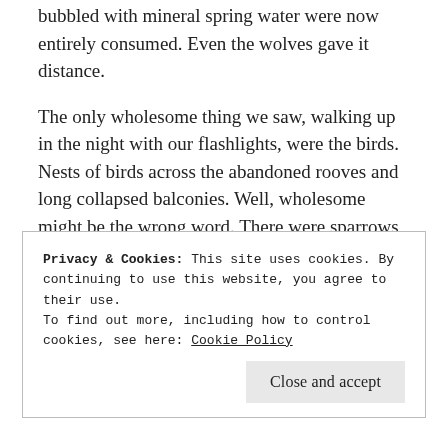bubbled with mineral spring water were now entirely consumed. Even the wolves gave it distance.
The only wholesome thing we saw, walking up in the night with our flashlights, were the birds. Nests of birds across the abandoned rooves and long collapsed balconies. Well, wholesome might be the wrong word. There were sparrows and robins and such, birds that sang in the morning and all that. I never was good with telling birds apart without bright colors. But I know ravens and crows, and the sound of owls in the night.
Privacy & Cookies: This site uses cookies. By continuing to use this website, you agree to their use.
To find out more, including how to control cookies, see here: Cookie Policy
Close and accept